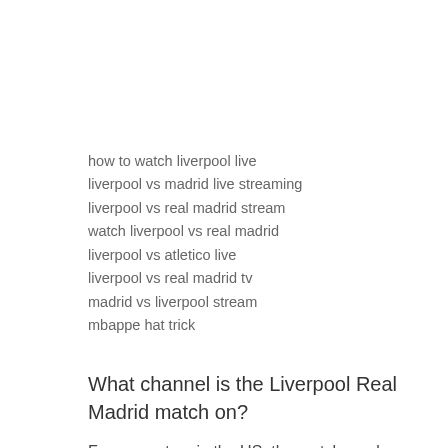how to watch liverpool live
liverpool vs madrid live streaming
liverpool vs real madrid stream
watch liverpool vs real madrid
liverpool vs atletico live
liverpool vs real madrid tv
madrid vs liverpool stream
mbappe hat trick
What channel is the Liverpool Real Madrid match on?
For supporters in the US, the match can be watched on CBS, Paramount+, Univision, Univision NOW, TUDN USA, TUDNxtra, TUDN.com, and the TUDN app. For viewers